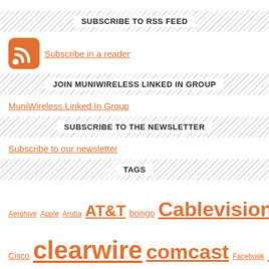SUBSCRIBE TO RSS FEED
Subscribe in a reader
JOIN MUNIWIRELESS LINKED IN GROUP
MuniWireless Linked In Group
SUBSCRIBE TO THE NEWSLETTER
Subscribe to our newsletter
TAGS
Aerohive Apple Aruba AT&T boingo Cablevision Cambium Cisco clearwire comcast Facebook Firetide